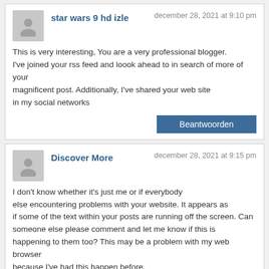star wars 9 hd izle — december 28, 2021 at 9:10 pm
This is very interesting, You are a very professional blogger. I've joined your rss feed and loook ahead to in search of more of your magnificent post. Additionally, I've shared your web site in my social networks
Beantwoorden
Discover More — december 28, 2021 at 9:15 pm
I don't know whether it's just me or if everybody else encountering problems with your website. It appears as if some of the text within your posts are running off the screen. Can someone else please comment and let me know if this is happening to them too? This may be a problem with my web browser because I've had this happen before.

Appreciate it
Beantwoorden